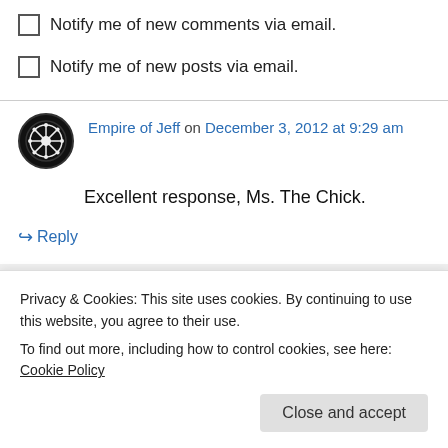Notify me of new comments via email.
Notify me of new posts via email.
Empire of Jeff on December 3, 2012 at 9:29 am
Excellent response, Ms. The Chick.
↪ Reply
Edward Williams (@eddwardwilliams) on
Privacy & Cookies: This site uses cookies. By continuing to use this website, you agree to their use. To find out more, including how to control cookies, see here: Cookie Policy
Close and accept